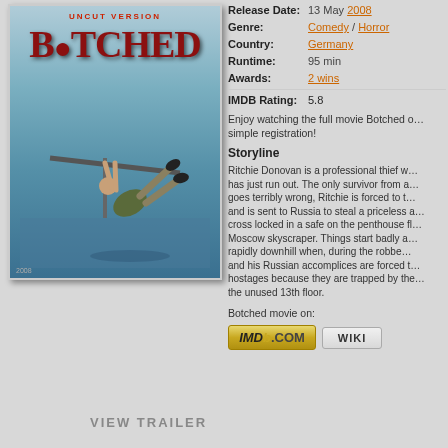[Figure (photo): Movie poster for 'Botched' - Uncut Version. Shows a man falling/hanging from a metal structure against a blue icy background. Large red text reads 'BOTCHED'.]
| Release Date: | 13 May 2008 |
| Genre: | Comedy / Horror |
| Country: | Germany |
| Runtime: | 95 min |
| Awards: | 2 wins |
| IMDB Rating: | 5.8 |
Enjoy watching the full movie Botched on simple registration!
Storyline
Ritchie Donovan is a professional thief whose luck has just run out. The only survivor from a heist that goes terribly wrong, Ritchie is forced to take the rap and is sent to Russia to steal a priceless antique cross locked in a safe on the penthouse floor of a Moscow skyscraper. Things start badly and go rapidly downhill when, during the robbery, Ritchie and his Russian accomplices are forced to take hostages because they are trapped by the residents of the unused 13th floor.
Botched movie on:
[Figure (logo): IMDb.com button/logo - gold colored button with IMDb.com text]
[Figure (logo): WIKI button - gray colored button with WIKI text]
VIEW TRAILER